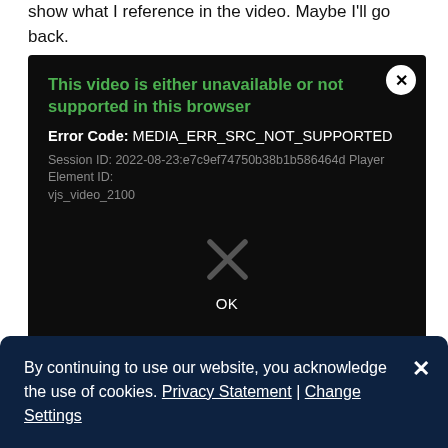show what I reference in the video. Maybe I'll go back.
[Figure (screenshot): Video player error dialog on dark background showing 'This video is either unavailable or not supported in this browser', Error Code: MEDIA_ERR_SRC_NOT_SUPPORTED, Session ID: 2022-08-23:e7c9ef74750b38b1b586464d Player Element ID: vjs_video_2100, with an X icon and OK button]
(view in My Videos)
By continuing to use our website, you acknowledge the use of cookies. Privacy Statement | Change Settings